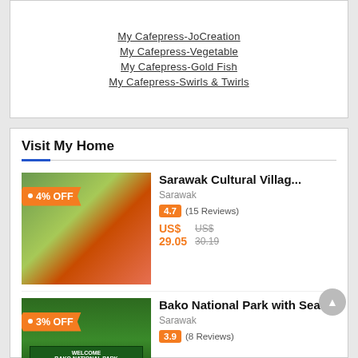My Cafepress-JoCreation
My Cafepress-Vegetable
My Cafepress-Gold Fish
My Cafepress-Swirls & Twirls
Visit My Home
[Figure (photo): Sarawak Cultural Village performers in traditional costumes with 4% OFF badge]
Sarawak Cultural Villag...
Sarawak
4.7 (15 Reviews)
US$ 29.05  US$ 30.19
[Figure (photo): Bako National Park welcome sign with 3% OFF badge]
Bako National Park with Sea...
Sarawak
3.9 (8 Reviews)